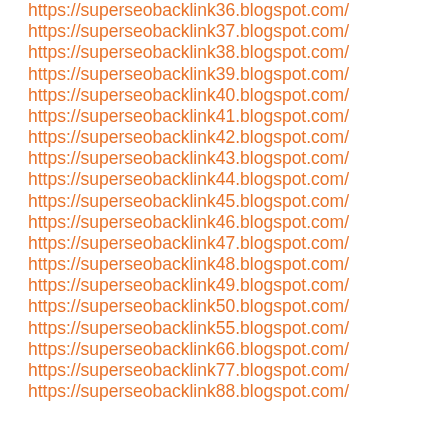https://superseobacklink36.blogspot.com/
https://superseobacklink37.blogspot.com/
https://superseobacklink38.blogspot.com/
https://superseobacklink39.blogspot.com/
https://superseobacklink40.blogspot.com/
https://superseobacklink41.blogspot.com/
https://superseobacklink42.blogspot.com/
https://superseobacklink43.blogspot.com/
https://superseobacklink44.blogspot.com/
https://superseobacklink45.blogspot.com/
https://superseobacklink46.blogspot.com/
https://superseobacklink47.blogspot.com/
https://superseobacklink48.blogspot.com/
https://superseobacklink49.blogspot.com/
https://superseobacklink50.blogspot.com/
https://superseobacklink55.blogspot.com/
https://superseobacklink66.blogspot.com/
https://superseobacklink77.blogspot.com/
https://superseobacklink88.blogspot.com/